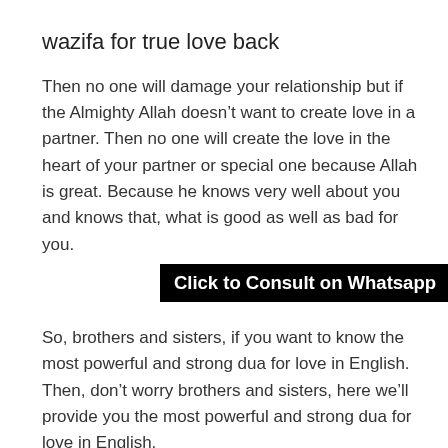wazifa for true love back
Then no one will damage your relationship but if the Almighty Allah doesn't want to create love in a partner. Then no one will create the love in the heart of your partner or special one because Allah is great. Because he knows very well about you and knows that, what is good as well as bad for you.
[Figure (other): Black banner button with white bold text reading 'Click to Consult on Whatsapp']
So, brothers and sisters, if you want to know the most powerful and strong dua for love in English. Then, don't worry brothers and sisters, here we'll provide you the most powerful and strong dua for love in English.
Dua for love in Hindi